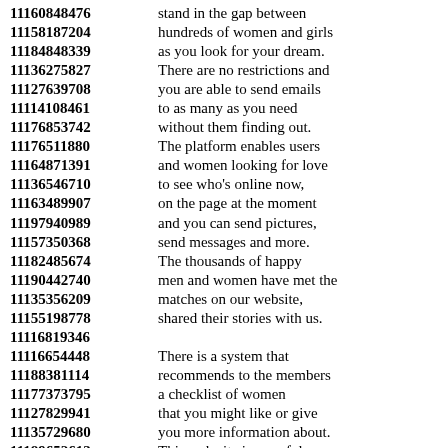11160848476 stand in the gap between
11158187204 hundreds of women and girls
11184848339 as you look for your dream.
11136275827 There are no restrictions and
11127639708 you are able to send emails
11114108461 to as many as you need
11176853742 without them finding out.
11176511880 The platform enables users
11164871391 and women looking for love
11136546710 to see who's online now,
11163489907 on the page at the moment
11197940989 and you can send pictures,
11157350368 send messages and more.
11182485674 The thousands of happy
11190442740 men and women have met the
11135356209 matches on our website,
11155198778 shared their stories with us.
11116819346
11116654448 There is a system that
11188381114 recommends to the members
11177373795 a checklist of women
11127829941 that you might like or give
11135729680 you more information about.
11189652613 This web site is a useful
11174559410 tool for women and girls